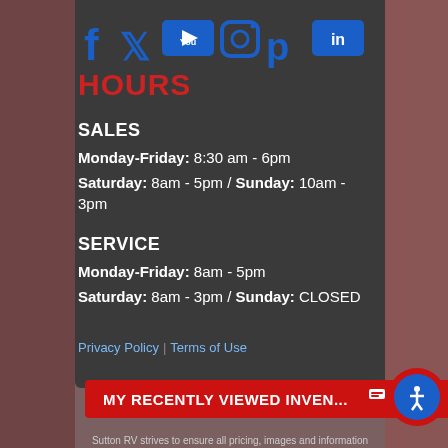[Figure (illustration): Social media icons: Facebook, Twitter, YouTube, Instagram, Pinterest, LinkedIn in blue]
HOURS
SALES
Monday-Friday: 8:30 am - 6pm
Saturday: 8am - 5pm / Sunday: 10am - 3pm
SERVICE
Monday-Friday: 8am - 5pm
Saturday: 8am - 3pm / Sunday: CLOSED
Privacy Policy | Terms of Use
MY RECENTLY VIEWED INVEN...
Sutton RV strives to ensure all pricing, images and information